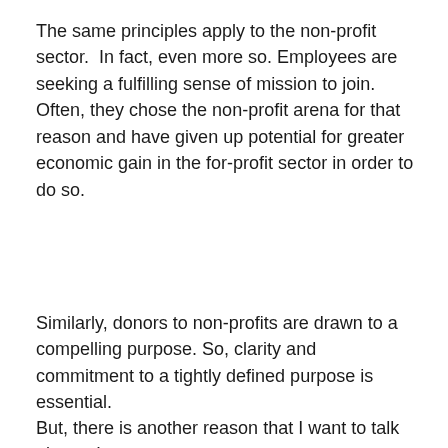The same principles apply to the non-profit sector.  In fact, even more so. Employees are seeking a fulfilling sense of mission to join.  Often, they chose the non-profit arena for that reason and have given up potential for greater economic gain in the for-profit sector in order to do so.
Similarly, donors to non-profits are drawn to a compelling purpose. So, clarity and commitment to a tightly defined purpose is essential.
But, there is another reason that I want to talk about.  I